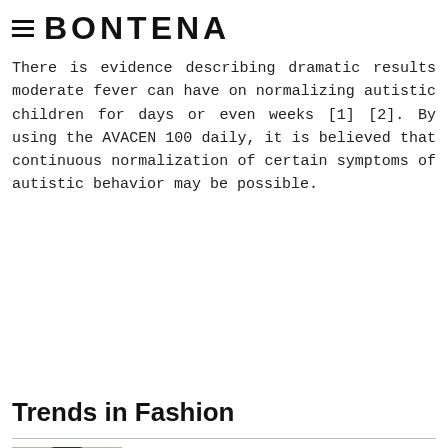≡ BONTENA
There is evidence describing dramatic results moderate fever can have on normalizing autistic children for days or even weeks [1] [2]. By using the AVACEN 100 daily, it is believed that continuous normalization of certain symptoms of autistic behavior may be possible.
Trends in Fashion
[Figure (photo): Photo of a woman with Prada branding visible]
Prada announces collaboration with Emma Watson